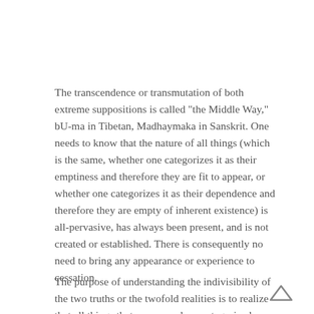The transcendence or transmutation of both extreme suppositions is called "the Middle Way," bU-ma in Tibetan, Madhaymaka in Sanskrit. One needs to know that the nature of all things (which is the same, whether one categorizes it as their emptiness and therefore they are fit to appear, or whether one categorizes it as their dependence and therefore they are empty of inherent existence) is all-pervasive, has always been present, and is not created or established. There is consequently no need to bring any appearance or experience to cessation.
The purpose of understanding the indivisibility of the two truths or the twofold realities is to realize that all things that appear and are categorized as conventional realities or conventional truths are in their own nature without a self-established entity, i.e., without inherent existence. This is the ultimate